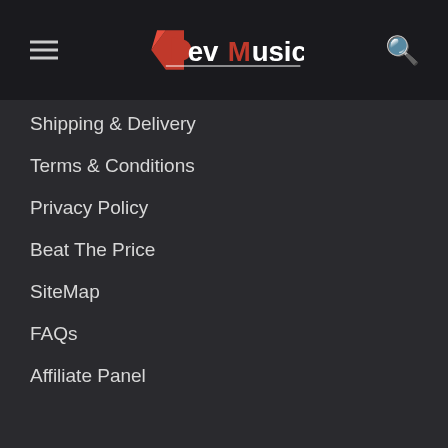DevMusical
Shipping & Delivery
Terms & Conditions
Privacy Policy
Beat The Price
SiteMap
FAQs
Affiliate Panel
Opening Hours
Available 7 Days a week from 9:00 AM to 9:00 PM
[Figure (illustration): Social media icons: Facebook, Twitter, Google+]